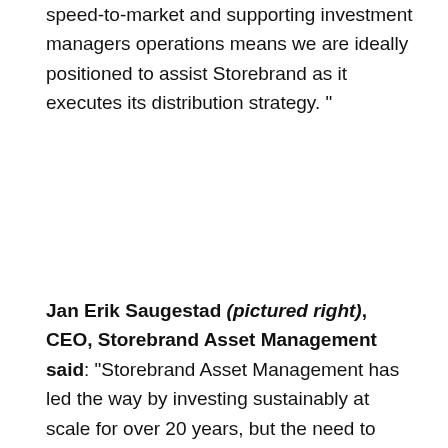speed-to-market and supporting investment managers operations means we are ideally positioned to assist Storebrand as it executes its distribution strategy. "
Jan Erik Saugestad (pictured right), CEO, Storebrand Asset Management said: “Storebrand Asset Management has led the way by investing sustainably at scale for over 20 years, but the need to address global environmental and social challenges has never been greater. We are therefore excited to extend our